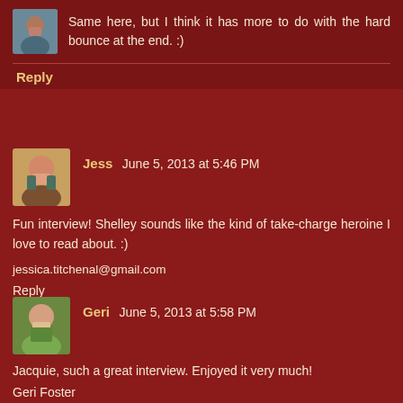Same here, but I think it has more to do with the hard bounce at the end. :)
Reply
Jess June 5, 2013 at 5:46 PM
Fun interview! Shelley sounds like the kind of take-charge heroine I love to read about. :)
jessica.titchenal@gmail.com
Reply
Geri June 5, 2013 at 5:58 PM
Jacquie, such a great interview. Enjoyed it very much!
Geri Foster
Reply